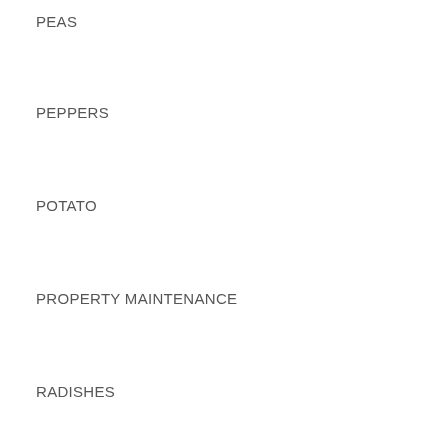PEAS
PEPPERS
POTATO
PROPERTY MAINTENANCE
RADISHES
RASPBERRY
RECIPES
SEED STARTING
SHELL BEANS
SOIL BLOCKS
SOUP
SPINACH